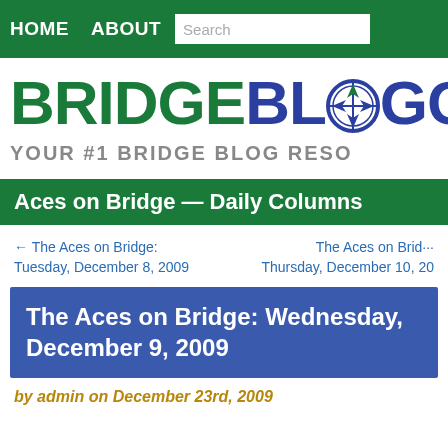HOME   ABOUT   Search
[Figure (logo): BridgeBlogging logo with compass icon - BRIDGE in green, BLOGGING in blue with compass icon replacing the O, tagline YOUR #1 BRIDGE BLOG RESO...]
Aces on Bridge — Daily Columns
← The Aces on Bridge: Tuesday, December 8, 2009
The Aces on Bridge: Thursday, December 10, 20...
The Aces on Bridge: Wednesday, December 9, 2009
by admin on December 23rd, 2009